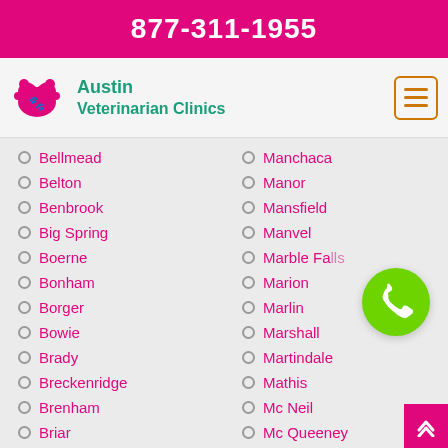877-311-1955
[Figure (logo): Austin Veterinarian Clinics logo with teal paw/heart icon and teal text]
Bellmead
Belton
Benbrook
Big Spring
Boerne
Bonham
Borger
Bowie
Brady
Breckenridge
Brenham
Briar
Bridge City
Manchaca
Manor
Mansfield
Manvel
Marble Falls
Marion
Marlin
Marshall
Martindale
Mathis
Mc Neil
Mc Queeney
Mc Allen